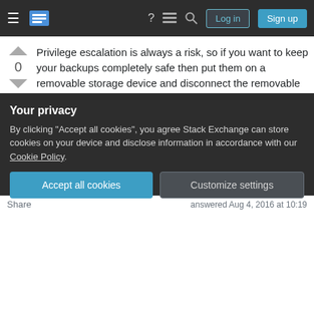Stack Exchange navigation bar with Log in and Sign up buttons
Privilege escalation is always a risk, so if you want to keep your backups completely safe then put them on a removable storage device and disconnect the removable storage device when not in use.
Share
Improve this answer
Follow
Add a comment
answered Aug 3, 2016 at 14:25
Micheal Johnson
1,736 ● 1 ● 10 ● 14
And don't forget to disconnect your external drive
Your privacy
By clicking "Accept all cookies", you agree Stack Exchange can store cookies on your device and disclose information in accordance with our Cookie Policy.
Accept all cookies
Customize settings
Share    answered Aug 4, 2016 at 10:19